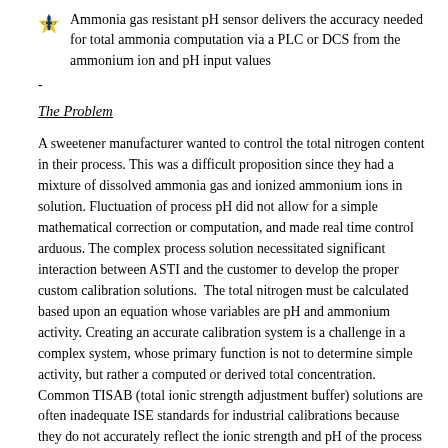Ammonia gas resistant pH sensor delivers the accuracy needed for total ammonia computation via a PLC or DCS from the ammonium ion and pH input values
-
The Problem
A sweetener manufacturer wanted to control the total nitrogen content in their process. This was a difficult proposition since they had a mixture of dissolved ammonia gas and ionized ammonium ions in solution. Fluctuation of process pH did not allow for a simple mathematical correction or computation, and made real time control arduous. The complex process solution necessitated significant interaction between ASTI and the customer to develop the proper custom calibration solutions.  The total nitrogen must be calculated based upon an equation whose variables are pH and ammonium activity. Creating an accurate calibration system is a challenge in a complex system, whose primary function is not to determine simple activity, but rather a computed or derived total concentration. Common TISAB (total ionic strength adjustment buffer) solutions are often inadequate ISE standards for industrial calibrations because they do not accurately reflect the ionic strength and pH of the process solution. This application then necessitated not only determining the proper multi-point calibration for both pH and ammonia/ammonium, but also developing an